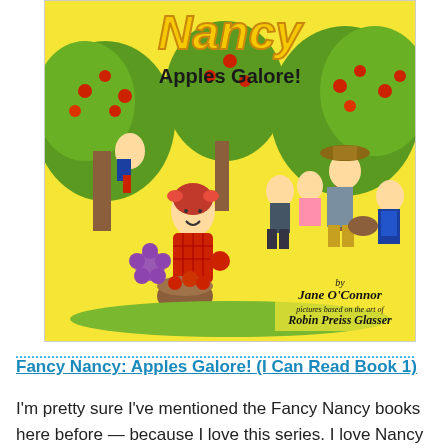[Figure (illustration): Book cover of 'Fancy Nancy: Apples Galore!' by Jane O'Connor, pictures based on the art of Robin Preiss Glasser. Shows children picking apples in an orchard with a yellow background. The main character Fancy Nancy is in the foreground wearing a red checkered dress and holding an apple and a basket of apples.]
Fancy Nancy: Apples Galore! (I Can Read Book 1)
I'm pretty sure I've mentioned the Fancy Nancy books here before — because I love this series. I love Nancy and can appreciate a kid who wants add a bit of flair to what she